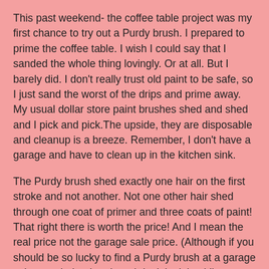This past weekend- the coffee table project was my first chance to try out a Purdy brush. I prepared to prime the coffee table. I wish I could say that I sanded the whole thing lovingly. Or at all. But I barely did. I don't really trust old paint to be safe, so I just sand the worst of the drips and prime away. My usual dollar store paint brushes shed and shed and I pick and pick.The upside, they are disposable and cleanup is a breeze. Remember, I don't have a garage and have to clean up in the kitchen sink.
The Purdy brush shed exactly one hair on the first stroke and not another. Not one other hair shed through one coat of primer and three coats of paint! That right there is worth the price! And I mean the real price not the garage sale price. (Although if you should be so lucky to find a Purdy brush at a garage sale snatch that brush and don't look back!)
I did have a major problem. I held off painting for several weeks while LA had a heat wave. Finally on Saturday the weather girl predicted a "cooling trend" of just 80 degrees. I got started early so it would be cooler, but by the time I was mid-deep in primer, o the sure saw some laser straight to